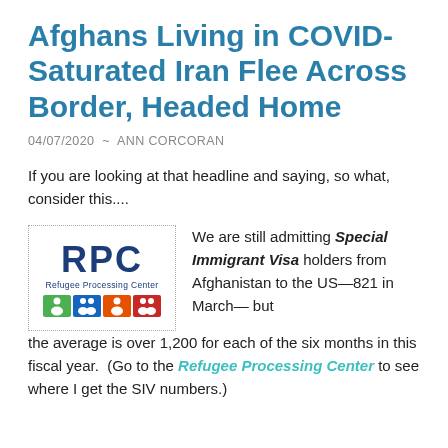Afghans Living in COVID-Saturated Iran Flee Across Border, Headed Home
04/07/2020 ~ ANN CORCORAN
If you are looking at that headline and saying, so what, consider this....
[Figure (logo): Refugee Processing Center (RPC) logo with colorful human figure icons on green, blue, orange, and red backgrounds]
We are still admitting Special Immigrant Visa holders from Afghanistan to the US—821 in March— but the average is over 1,200 for each of the six months in this fiscal year.  (Go to the Refugee Processing Center to see where I get the SIV numbers.)